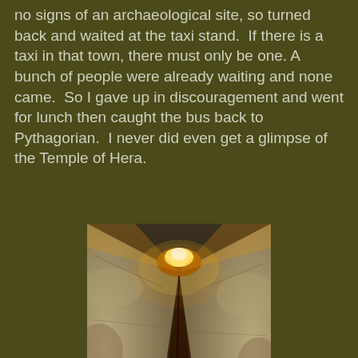no signs of an archaeological site, so turned back and waited at the taxi stand.  If there is a taxi in that town, there must only be one. A bunch of people were already waiting and none came.  So I gave up in discouragement and went for lunch then caught the bus back to Pythagorian.  I never did even get a glimpse of the Temple of Hera.
[Figure (photo): Interior view looking up through a narrow stone tunnel or passageway, with rough limestone walls on both sides converging toward a bright orange-yellow light source at the top, suggesting an ancient underground corridor or aqueduct.]